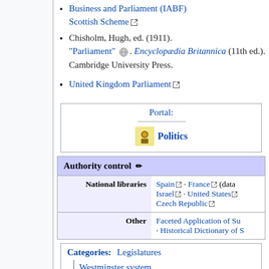Business and Parliament (IABF) Scottish Scheme
Chisholm, Hugh, ed. (1911). "Parliament" . Encyclopædia Britannica (11th ed.). Cambridge University Press.
United Kingdom Parliament
| Portal: |
| --- |
| Politics |
| Authority control |  |
| --- | --- |
| National libraries | Spain · France (data) · Israel · United States · Czech Republic |
| Other | Faceted Application of Su... · Historical Dictionary of S... |
| Categories: |
| --- |
| Legislatures |
| Westminster system |
| Parliamentary procedure |